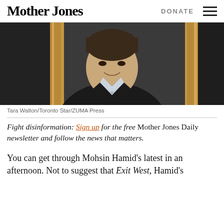Mother Jones | DONATE
[Figure (photo): Portrait photo of a man in a dark blazer and light blue shirt, smiling slightly, photographed through or near a wooden frame. Credit: Tara Walton/Toronto Star/ZUMA Press]
Tara Walton/Toronto Star/ZUMA Press
Fight disinformation: Sign up for the free Mother Jones Daily newsletter and follow the news that matters.
You can get through Mohsin Hamid’s latest in an afternoon. Not to suggest that Exit West, Hamid’s